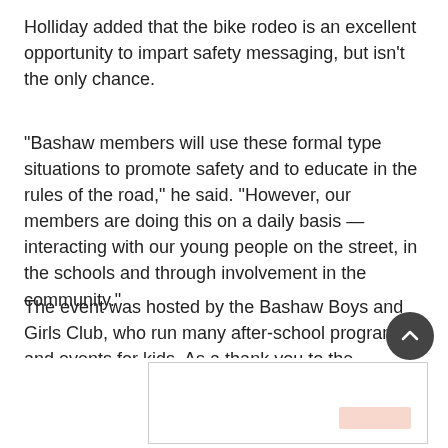Holliday added that the bike rodeo is an excellent opportunity to impart safety messaging, but isn't the only chance.
“Bashaw members will use these formal type situations to promote safety and to educate in the rules of the road,” he said. “However, our members are doing this on a daily basis — interacting with our young people on the street, in the schools and through involvement in the community.”
The event was hosted by the Bashaw Boys and Girls Club, who run many after-school programs and events for kids. As a thank you to the community and to help celebrate Canada 150, the club will be holding a dance today (June 21) fro
[Figure (other): Advertisement box with a light coral/pink button element in the lower right corner]